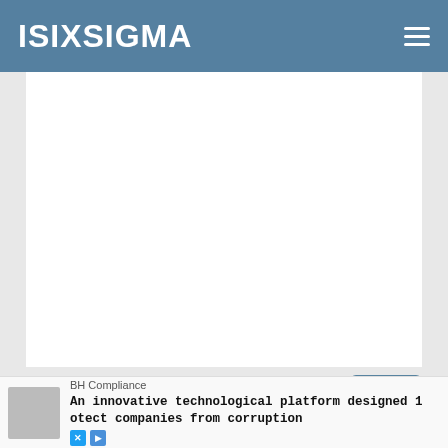ISIXSIGMA
[Figure (other): Large white/light gray advertisement or content placeholder area]
Comments
[Figure (other): Comments count badge showing 3 comments]
BH Compliance
An innovative technological platform designed to protect companies from corruption